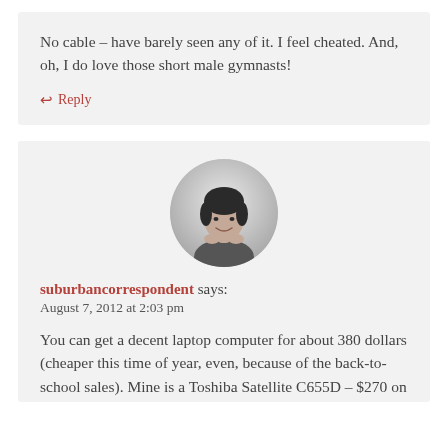No cable – have barely seen any of it. I feel cheated. And, oh, I do love those short male gymnasts!
↩ Reply
[Figure (photo): Black and white circular avatar photo of a woman with short dark hair, resting her chin on her hands, smiling.]
suburbancorrespondent says:
August 7, 2012 at 2:03 pm
You can get a decent laptop computer for about 380 dollars (cheaper this time of year, even, because of the back-to-school sales). Mine is a Toshiba Satellite C655D – $270 on